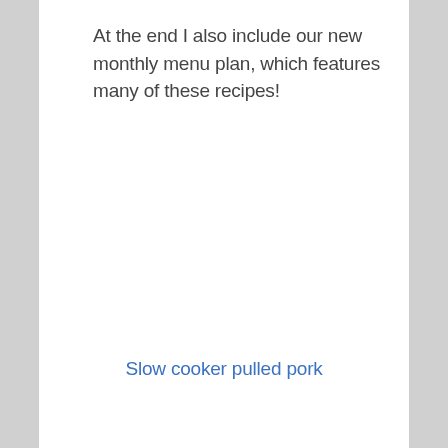At the end I also include our new monthly menu plan, which features many of these recipes!
Slow cooker pulled pork